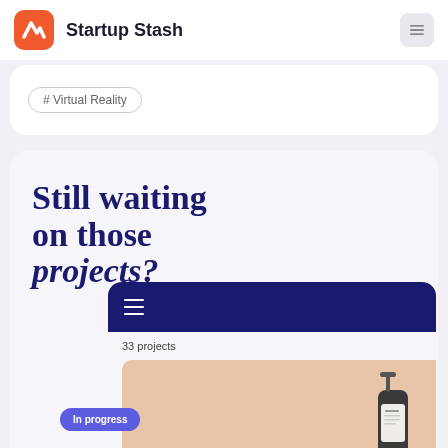Startup Stash
# Virtual Reality
[Figure (screenshot): App UI mockup showing 'Still waiting on those projects?' headline with a dark navy navigation bar, '33 projects' label, a product image of a lotion bottle on peach background, and an 'In progress' pill button]
Still waiting on those projects?
33 projects
In progress